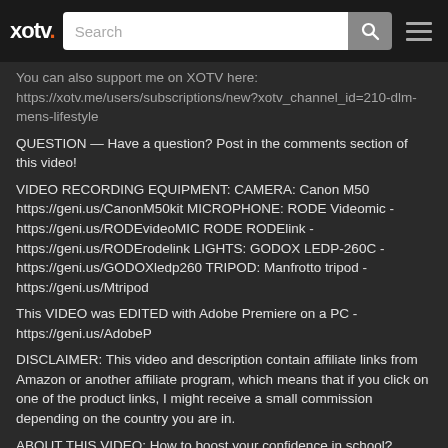xotv. [Search bar] [Search button] [Menu]
You can also support me on XOTV here: https://xotv.me/users/subscriptions/new?xotv_channel_id=210-dlm-mens-lifestyle
QUESTION — Have a question? Post in the comments section of this video!
VIDEO RECORDING EQUIPMENT: CAMERA: Canon M50 https://geni.us/CanonM50kit MICROPHONE: RODE Videomic - https://geni.us/RODEvideoMIC RODE RODElink - https://geni.us/RODErodelink LIGHTS: GODOX LEDP-260C - https://geni.us/GODOXledp260 TRIPOD: Manfrotto tripod - https://geni.us/Mtripod
This VIDEO was EDITED with Adobe Premiere on a PC - https://geni.us/AdobeP
DISCLAIMER: This video and description contain affiliate links from Amazon or another affiliate program, which means that if you click on one of the product links, I might receive a small commission depending on the country you are in.
ABOUT THIS VIDEO: How to boost your confidence in school?